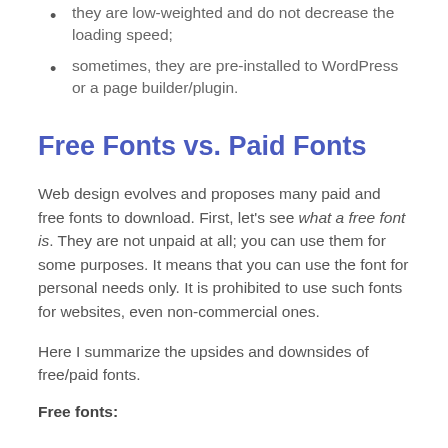they are low-weighted and do not decrease the loading speed;
sometimes, they are pre-installed to WordPress or a page builder/plugin.
Free Fonts vs. Paid Fonts
Web design evolves and proposes many paid and free fonts to download. First, let’s see what a free font is. They are not unpaid at all; you can use them for some purposes. It means that you can use the font for personal needs only. It is prohibited to use such fonts for websites, even non-commercial ones.
Here I summarize the upsides and downsides of free/paid fonts.
Free fonts: